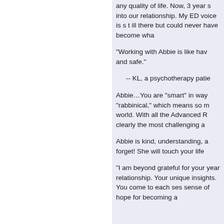any quality of life. Now, 3 years into our relationship.  My ED voice is still there but could never have become wha
"Working with Abbie is like hav and safe."
-- KL, a psychotherapy patie
Abbie…You are “smart” in way “rabbinical,” which means so m world.  With all the Advanced R clearly the most challenging a
Abbie is kind, understanding, a forget!  She will touch your life
“I am beyond grateful for your year relationship. Your unique insights. You come to each ses sense of hope for becoming a